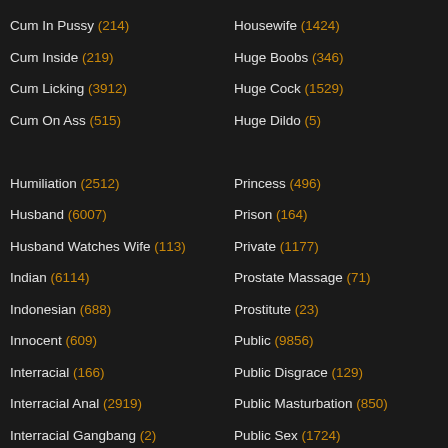Cum In Pussy (214)
Housewife (1424)
Cum Inside (219)
Huge Boobs (346)
Cum Licking (3912)
Huge Cock (1529)
Cum On Ass (515)
Huge Dildo (5)
Humiliation (2512)
Princess (496)
Husband (6007)
Prison (164)
Husband Watches Wife (113)
Private (1177)
Indian (6114)
Prostate Massage (71)
Indonesian (688)
Prostitute (23)
Innocent (609)
Public (9856)
Interracial (166)
Public Disgrace (129)
Interracial Anal (2919)
Public Masturbation (850)
Interracial Gangbang (2)
Public Sex (1724)
Interview (952)
Puffy Nipples (725)
Irish (230)
Punish (1188)